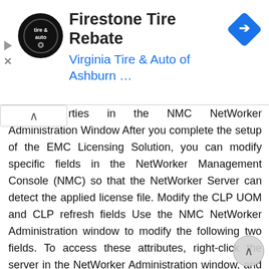[Figure (screenshot): Advertisement banner for Firestone Tire Rebate from Virginia Tire & Auto of Ashburn with logo and navigation arrow icon]
rties in the NMC NetWorker Administration Window After you complete the setup of the EMC Licensing Solution, you can modify specific fields in the NetWorker Management Console (NMC) so that the NetWorker Server can detect the applied license file. Modify the CLP UOM and CLP refresh fields Use the NMC NetWorker Administration window to modify the following two fields. To access these attributes, right-click the server in the NetWorker Administration window, and then select Properties. CLP UOM allows you to allocate more capacity to a specific datazone. Initially, 1 TB is checked out. This amount can be changed if the request is greater than 0. CLP refresh when the CLP refresh checkbox is selected, the NetWorker Server is prompts search for a new or updated license file. When you select the CLP refresh checkbox, the server requests a license file with a Capacity Entitlement and, where applicable, an Update Entitlement. The following figure displays the CLP UOM and CLP